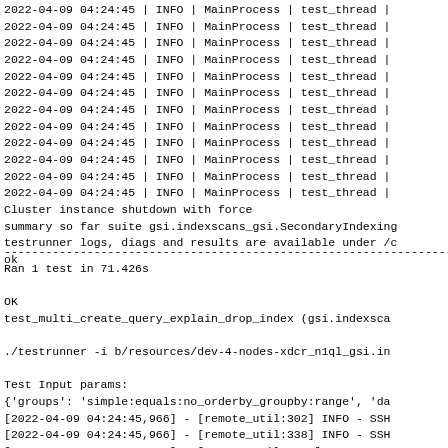2022-04-09 04:24:45 | INFO | MainProcess | test_thread |
2022-04-09 04:24:45 | INFO | MainProcess | test_thread |
2022-04-09 04:24:45 | INFO | MainProcess | test_thread |
2022-04-09 04:24:45 | INFO | MainProcess | test_thread |
2022-04-09 04:24:45 | INFO | MainProcess | test_thread |
2022-04-09 04:24:45 | INFO | MainProcess | test_thread |
2022-04-09 04:24:45 | INFO | MainProcess | test_thread |
2022-04-09 04:24:45 | INFO | MainProcess | test_thread |
2022-04-09 04:24:45 | INFO | MainProcess | test_thread |
2022-04-09 04:24:45 | INFO | MainProcess | test_thread |
2022-04-09 04:24:45 | INFO | MainProcess | test_thread |
2022-04-09 04:24:45 | INFO | MainProcess | test_thread |
Cluster instance shutdown with force
summary so far suite gsi.indexscans_gsi.SecondaryIndexing
testrunner logs, diags and results are available under /c
ok
----------------------------------------------------------------------
Ran 1 test in 71.426s

OK
test_multi_create_query_explain_drop_index (gsi.indexsca

./testrunner -i b/resources/dev-4-nodes-xdcr_n1ql_gsi.in

Test Input params:
{'groups': 'simple:equals:no_orderby_groupby:range', 'da
[2022-04-09 04:24:45,966] - [remote_util:302] INFO - SSH
[2022-04-09 04:24:45,966] - [remote_util:338] INFO - SSH
[2022-04-09 04:24:46,219] - [remote_util:3654] INFO - ex